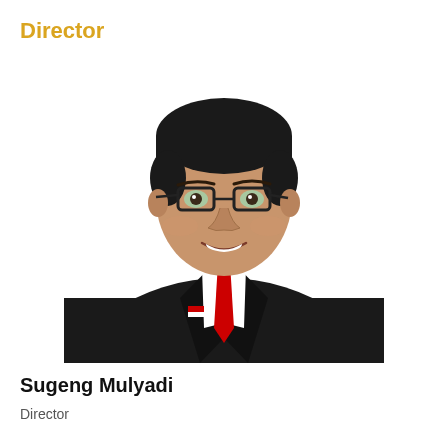Director
[Figure (photo): Professional headshot of Sugeng Mulyadi, a man wearing a black suit, white shirt, red tie, and glasses, with an Indonesian flag pin on the lapel, smiling against a white background.]
Sugeng Mulyadi
Director